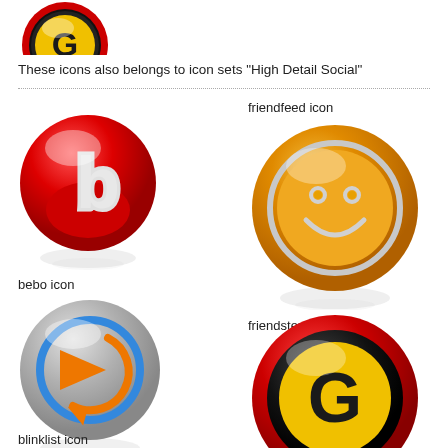[Figure (illustration): Partial icon at top-left corner, appears to be a yellow/red circular icon with G letter, partially cropped]
These icons also belongs to icon sets "High Detail Social"
friendfeed icon
[Figure (illustration): Bebo icon: red glossy 3D sphere with a white/silver letter 'b' inside, with a reflection below]
bebo icon
[Figure (illustration): FriendFeed icon: orange/amber glossy 3D sphere with a smiley face drawn in silver/white, with a reflection below]
friendster icon
[Figure (illustration): Blinklist icon: gray/silver glossy 3D sphere with an orange arrow/play button and blue ring, with a reflection below]
blinklist icon
[Figure (illustration): Yellow and black glossy 3D sphere icon with a red border ring and large letter 'G' in black with yellow fill, with a reflection below]